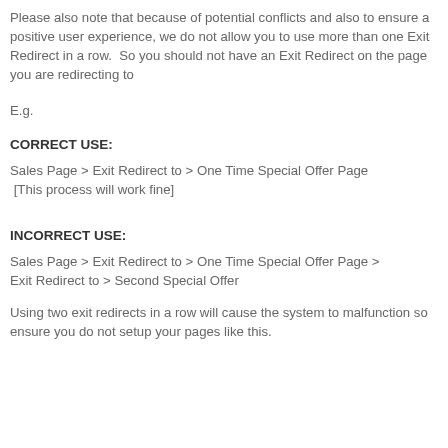Please also note that because of potential conflicts and also to ensure a positive user experience, we do not allow you to use more than one Exit Redirect in a row.  So you should not have an Exit Redirect on the page you are redirecting to
E.g.
CORRECT USE:
Sales Page > Exit Redirect to > One Time Special Offer Page
 [This process will work fine]
INCORRECT USE:
Sales Page > Exit Redirect to > One Time Special Offer Page > Exit Redirect to > Second Special Offer
Using two exit redirects in a row will cause the system to malfunction so ensure you do not setup your pages like this.